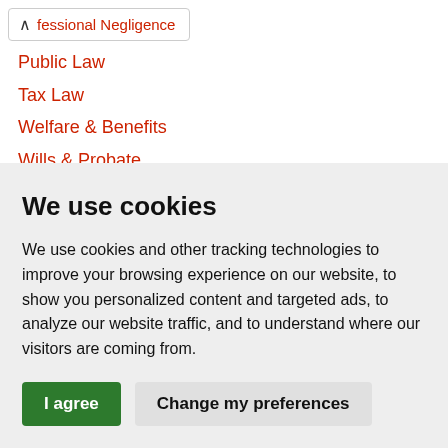fessional Negligence
Public Law
Tax Law
Welfare & Benefits
Wills & Probate
We use cookies
We use cookies and other tracking technologies to improve your browsing experience on our website, to show you personalized content and targeted ads, to analyze our website traffic, and to understand where our visitors are coming from.
I agree | Change my preferences